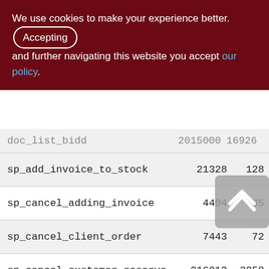We use cookies to make your experience better. By Accepting and further navigating this website you accept our policy.
| Procedure | Col2 | Col3 |
| --- | --- | --- |
| doc_list_bidd | 2015000 | 16926 |
| sp_add_invoice_to_stock | 21328 | 128 |
| sp_cancel_adding_invoice | 4404 | 35 |
| sp_cancel_client_order | 7443 | 72 |
| sp_cancel_customer_reserve | 316013 | 2058 |
| sp_cancel_pay_from_customer | 2831 | 28 |